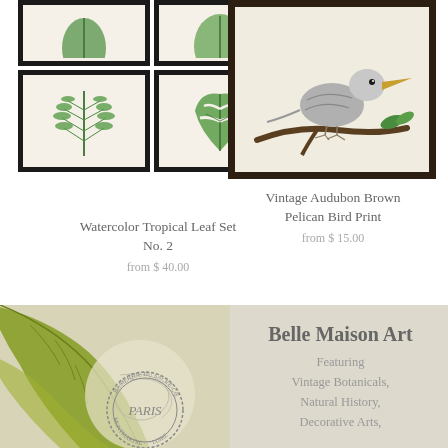[Figure (illustration): Four framed botanical leaf prints arranged in a 2x2 grid: top row shows partial tops of two darker frames, bottom row shows a fern leaf print and a monstera leaf print, both in dark frames on cream background]
Watercolor Tropical Leaf Set No. 2
from $ 40.00
[Figure (illustration): Vintage Audubon style illustration of a Brown Pelican bird perched on a branch, in a dark brown frame on cream background]
Vintage Audubon Brown Pelican Bird Print
from $ 15.00
[Figure (illustration): Banner image showing vintage botanical leaf illustration with Paris Sacre-Coeur postmark stamp overlay on aged paper background]
Belle Maison Art
Featuring Vintage Botanicals, Natural History, Decorative Arts,